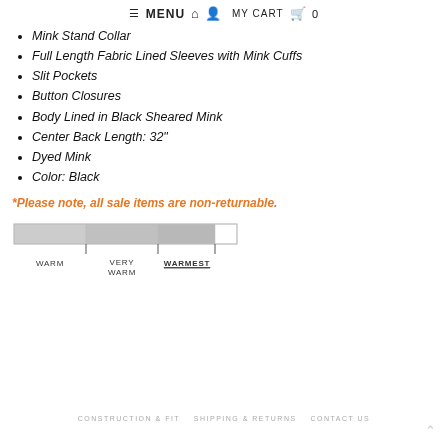≡ MENU  🏠  👤  MY CART  🛍  0
Mink Stand Collar
Full Length Fabric Lined Sleeves with Mink Cuffs
Slit Pockets
Button Closures
Body Lined in Black Sheared Mink
Center Back Length: 32"
Dyed Mink
Color: Black
*Please note, all sale items are non-returnable.
[Figure (infographic): Warmth scale bar with three filled segments labeled WARM, VERY WARM, and WARMEST (underlined), indicating the product warmth level is at WARMEST.]
CONSTRUCTION & FIT   SHIPPING & RETURNS   CONTACT US